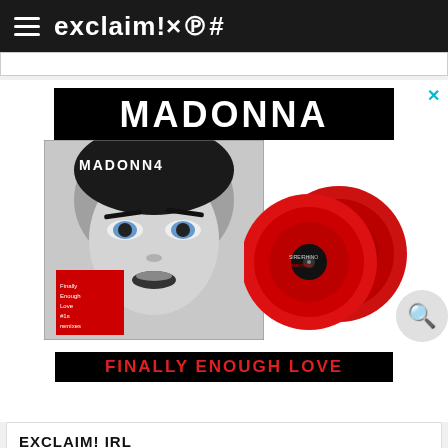exclaim!×℗#
[Figure (illustration): Madonna 'Finally Enough Love' album advertisement showing album cover with Madonna's face in black and white, red vinyl records, 'MADONNA' text banner, and 'FINALLY ENOUGH LOVE' text in red on black background]
EXCLAIM! IRL
[Figure (illustration): The Tragically Hip advertisement banner in black with white handwritten-style text]